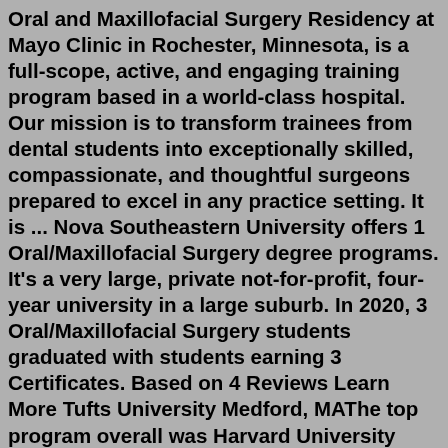Oral and Maxillofacial Surgery Residency at Mayo Clinic in Rochester, Minnesota, is a full-scope, active, and engaging training program based in a world-class hospital. Our mission is to transform trainees from dental students into exceptionally skilled, compassionate, and thoughtful surgeons prepared to excel in any practice setting. It is ... Nova Southeastern University offers 1 Oral/Maxillofacial Surgery degree programs. It's a very large, private not-for-profit, four-year university in a large suburb. In 2020, 3 Oral/Maxillofacial Surgery students graduated with students earning 3 Certificates. Based on 4 Reviews Learn More Tufts University Medford, MAThe top program overall was Harvard University (integrated and independent) Conclusion We ranked plastic surgery residency programs based on objective data related to academic achievement. These rankings may be especially helpful to medical students applying to residency programs. Table 1.Whether you're crossing the country or the globe, we make it easy to access world-class care at Johns Hopkins